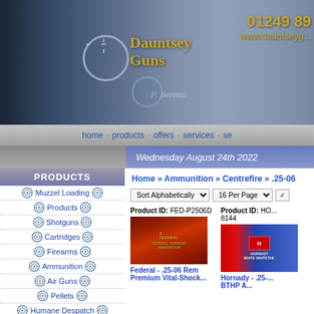[Figure (screenshot): Dauntsey Guns website header banner with logo, phone number 01249 89..., and website www.dauntseyg... with a blue-grey gun/ammunition themed background and P. Beretta branding]
home · products · offers · services · se...
Wednesday August 24th 2022
PRODUCTS
Muzzel Loading
Products
Shotguns
Cartridges
Firearms
Ammunition
Air Guns
Pellets
Humane Despatch
Clothing
Reloading
Home » Ammunition » Centrefire » .25-06
Sort Alphabetically | 16 Per Page
Product ID: FED-P2506D
[Figure (photo): Federal Premium ammunition box product image]
Federal - .25-06 Rem Premium Vital-Shock...
Product ID: HO... 8144
[Figure (photo): Hornady ammunition product image with red and blue packaging]
Hornady - .25-... BTHP A...